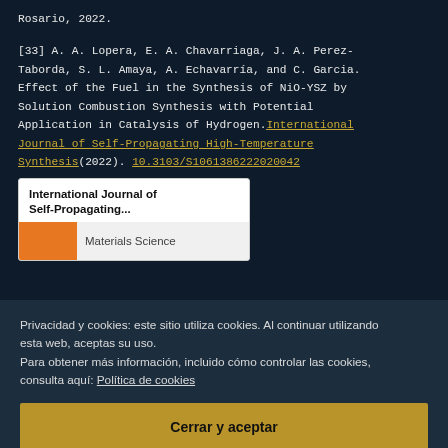Rosario, 2022.
[33] A. A. Lopera, E. A. Chavarriaga, J. A. Perez-Taborda, S. L. Amaya, A. Echavarría, and C. Garcia. Effect of the Fuel in the Synthesis of NiO-YSZ by Solution Combustion Synthesis with Potential Application in Catalysis of Hydrogen. International Journal of Self-Propagating High-Temperature Synthesis(2022). 10.3103/S1061386222020042
[Figure (other): Preview card for 'International Journal of Self-Propagating...' showing orange block and 'Materials Science' label]
Privacidad y cookies: este sitio utiliza cookies. Al continuar utilizando esta web, aceptas su uso.
Para obtener más información, incluido cómo controlar las cookies, consulta aquí: Política de cookies
Cerrar y aceptar
effect on the D-E Molecular Complex strongly continued